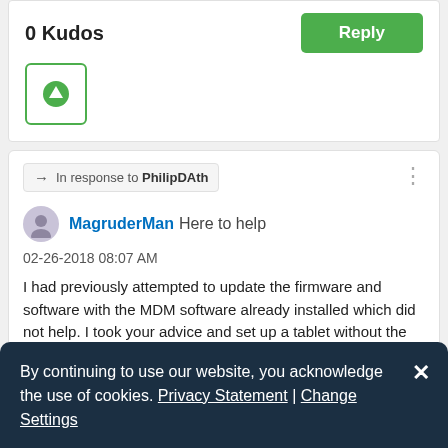0 Kudos
Reply
In response to PhilipDAth
MagruderMan Here to help
02-26-2018 08:07 AM
I had previously attempted to update the firmware and software with the MDM software already installed which did not help. I took your advice and set up a tablet without the MDM software. The firmware/android OS had no updates and the
By continuing to use our website, you acknowledge the use of cookies. Privacy Statement | Change Settings